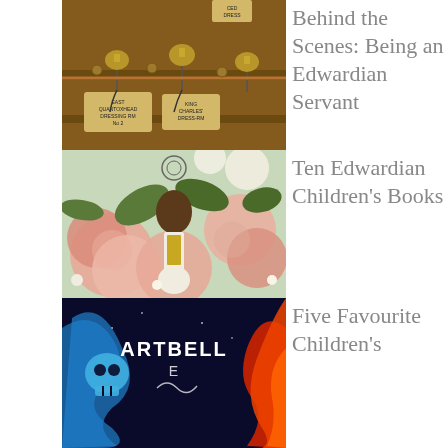[Figure (photo): Close-up photo of vintage wooden servant bell board with brass bells and labeled plaques including 'East Quantoxhead Dressing Rm No 2' and 'King Charles' Dressing Rm']
Behind the Scenes: Being an Edwardian Servant
[Figure (illustration): Illustration of a girl with long dark hair viewed from behind, surrounded by large pink and white peonies and green foliage on a light background]
Ten Edwardian Children's Books
[Figure (illustration): Colorful book cover or poster titled 'Artbelle' featuring a skull in blue swirling smoke on the left and red flames on the right against a dark night sky background]
Five Favourite Children's